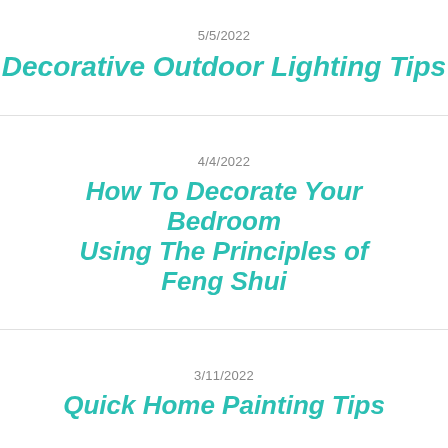5/5/2022
Decorative Outdoor Lighting Tips
4/4/2022
How To Decorate Your Bedroom Using The Principles of Feng Shui
3/11/2022
Quick Home Painting Tips